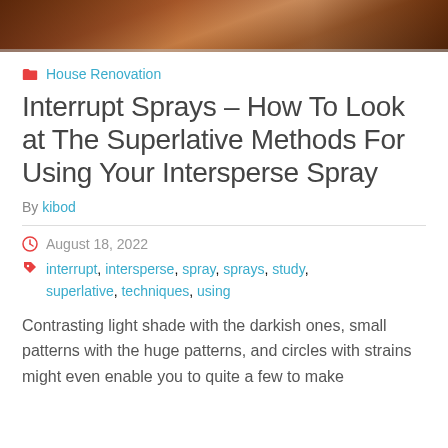[Figure (photo): Top banner photo showing wooden furniture/interior, dark brown tones]
House Renovation
Interrupt Sprays – How To Look at The Superlative Methods For Using Your Intersperse Spray
By kibod
August 18, 2022
interrupt, intersperse, spray, sprays, study, superlative, techniques, using
Contrasting light shade with the darkish ones, small patterns with the huge patterns, and circles with strains might even enable you to quite a few to make